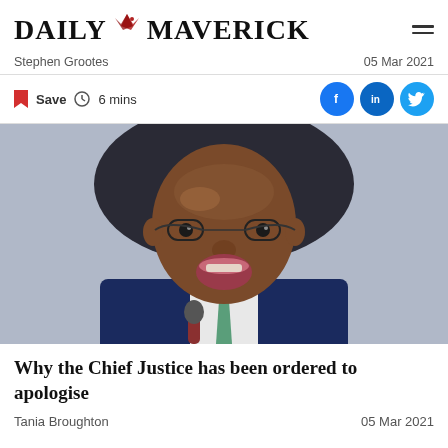DAILY MAVERICK
Stephen Grootes | 05 Mar 2021
Save  6 mins
[Figure (photo): Close-up photo of a Black man in glasses with his mouth open, wearing a navy suit and green striped tie, seated at a desk with a microphone in front of him.]
Why the Chief Justice has been ordered to apologise
Tania Broughton | 05 Mar 2021